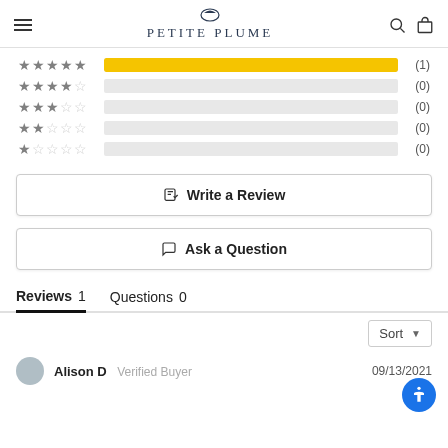Petite Plume — navigation header with hamburger menu, logo, search and cart icons
[Figure (bar-chart): Star rating distribution]
Write a Review
Ask a Question
Reviews 1   Questions 0
Sort
Alison D   Verified Buyer   09/13/2021